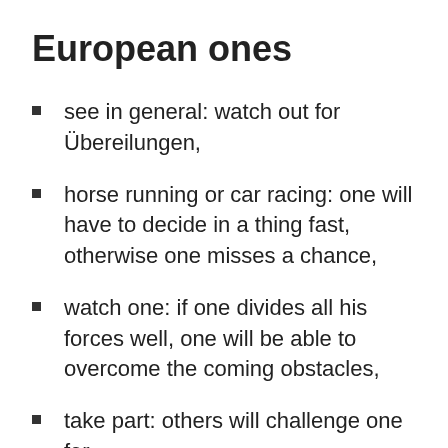European ones
see in general: watch out for Übereilungen,
horse running or car racing: one will have to decide in a thing fast, otherwise one misses a chance,
watch one: if one divides all his forces well, one will be able to overcome the coming obstacles,
take part: others will challenge one for